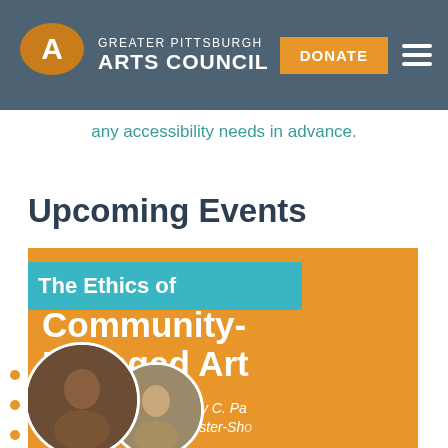GREATER PITTSBURGH ARTS COUNCIL | DONATE
any accessibility needs in advance.
Upcoming Events
[Figure (illustration): Event promotional graphic for 'The Ethics of Community-Engaged Art' with photos of two speakers: Mary C. Pa... and Liz Foster-Sh..., on an orange background with teal accent ribbon.]